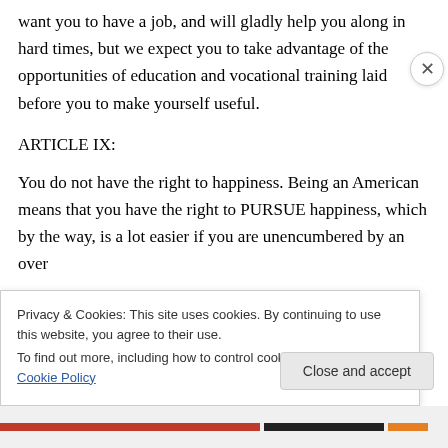want you to have a job, and will gladly help you along in hard times, but we expect you to take advantage of the opportunities of education and vocational training laid before you to make yourself useful.
ARTICLE IX:
You do not have the right to happiness. Being an American means that you have the right to PURSUE happiness, which by the way, is a lot easier if you are unencumbered by an over
Privacy & Cookies: This site uses cookies. By continuing to use this website, you agree to their use.
To find out more, including how to control cookies, see here: Cookie Policy
Close and accept